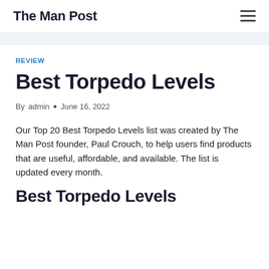The Man Post
REVIEW
Best Torpedo Levels
By admin • June 16, 2022
Our Top 20 Best Torpedo Levels list was created by The Man Post founder, Paul Crouch, to help users find products that are useful, affordable, and available. The list is updated every month.
Best Torpedo Levels